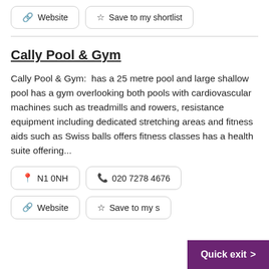Website
Save to my shortlist
Cally Pool & Gym
Cally Pool & Gym:  has a 25 metre pool and large shallow pool has a gym overlooking both pools with cardiovascular machines such as treadmills and rowers, resistance equipment including dedicated stretching areas and fitness aids such as Swiss balls offers fitness classes has a health suite offering...
N1 0NH
020 7278 4676
Website
Save to my s